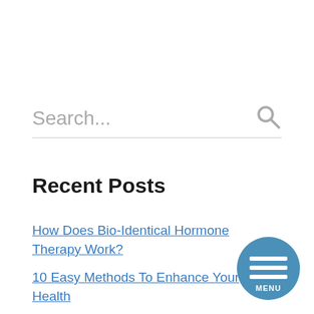Search...
Recent Posts
How Does Bio-Identical Hormone Therapy Work?
10 Easy Methods To Enhance Your Health
Surprising Uses for Botox
Free Health Magazine Template & Design
Well being And The Social Building Of Masculinity Males's Well being Magazine